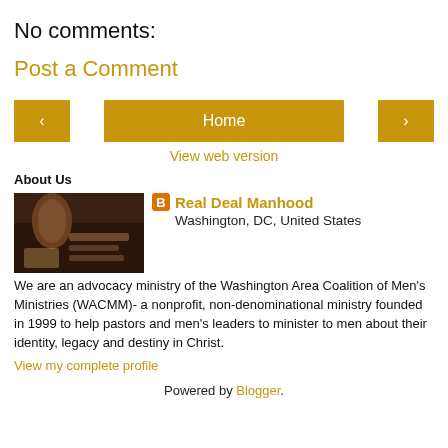No comments:
Post a Comment
[Figure (other): Navigation buttons: back arrow, Home button, forward arrow]
View web version
About Us
[Figure (photo): Profile photo showing food items on a dark background]
Real Deal Manhood
Washington, DC, United States
We are an advocacy ministry of the Washington Area Coalition of Men's Ministries (WACMM)- a nonprofit, non-denominational ministry founded in 1999 to help pastors and men's leaders to minister to men about their identity, legacy and destiny in Christ.
View my complete profile
Powered by Blogger.